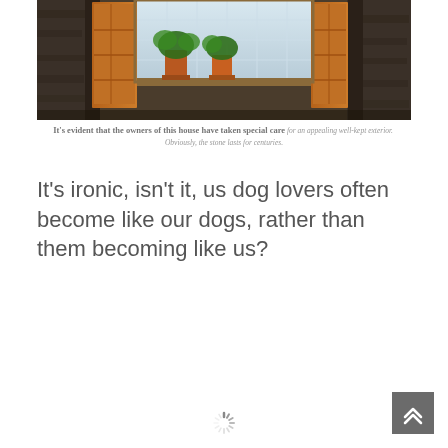[Figure (photo): A rustic stone building exterior with wooden shutters open, potted plants on the windowsill, and a glass block window behind.]
It's evident that the owners of this house have taken special care for an appealing well-kept exterior.  Obviously, the stone lasts for centuries.
It's ironic, isn't it, us dog lovers often become like our dogs, rather than them becoming like us?
[Figure (other): A scroll-to-top button with upward chevron arrows on a dark gray background]
[Figure (other): A loading spinner graphic]